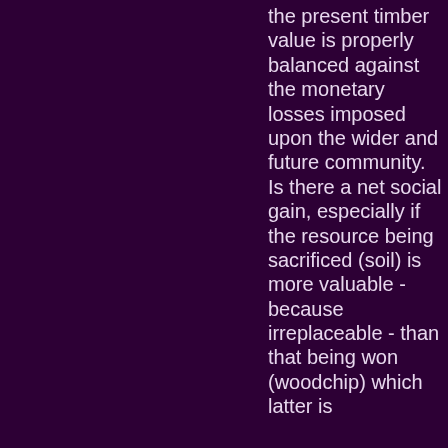the present timber value is properly balanced against the monetary losses imposed upon the wider and future community. Is there a net social gain, especially if the resource being sacrificed (soil) is more valuable - because irreplaceable - than that being won (woodchip) which latter is